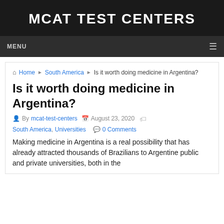MCAT TEST CENTERS
MENU
Home › South America › Is it worth doing medicine in Argentina?
Is it worth doing medicine in Argentina?
By mcat-test-centers  August 23, 2020  South America, Universities  0 Comments
Making medicine in Argentina is a real possibility that has already attracted thousands of Brazilians to Argentine public and private universities, both in the